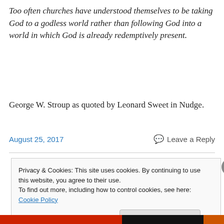Too often churches have understood themselves to be taking God to a godless world rather than following God into a world in which God is already redemptively present.
George W. Stroup as quoted by Leonard Sweet in Nudge.
August 25, 2017
Leave a Reply
Privacy & Cookies: This site uses cookies. By continuing to use this website, you agree to their use.
To find out more, including how to control cookies, see here: Cookie Policy
Close and accept